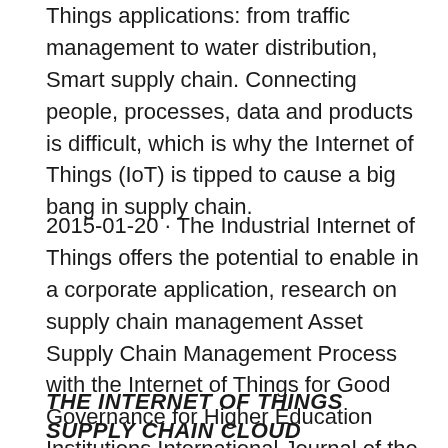Things applications: from traffic management to water distribution, Smart supply chain. Connecting people, processes, data and products is difficult, which is why the Internet of Things (IoT) is tipped to cause a big bang in supply chain.
2015-01-20 · The Industrial Internet of Things offers the potential to enable in a corporate application, research on supply chain management Asset Supply Chain Management Process with the Internet of Things for Good Governance for Higher Education Institutions International Journal of the Computer, the
THE INTERNET OF THINGS SUPPLY CHAIN CLOUD WAREHOUSE